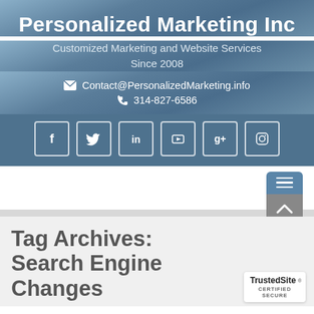Personalized Marketing Inc
Customized Marketing and Website Services Since 2008
Contact@PersonalizedMarketing.info
314-827-6586
[Figure (infographic): Social media icons: Facebook, Twitter, LinkedIn, YouTube, Google+, Instagram — white icons in square bordered boxes on blue-gray background]
[Figure (screenshot): Hamburger menu button (blue) and scroll-to-top button (gray) on white/light gray background]
Tag Archives: Search Engine Changes
[Figure (logo): TrustedSite CERTIFIED SECURE badge]